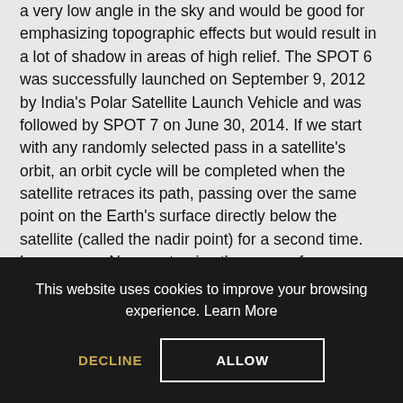a very low angle in the sky and would be good for emphasizing topographic effects but would result in a lot of shadow in areas of high relief. The SPOT 6 was successfully launched on September 9, 2012 by India's Polar Satellite Launch Vehicle and was followed by SPOT 7 on June 30, 2014. If we start with any randomly selected pass in a satellite's orbit, an orbit cycle will be completed when the satellite retraces its path, passing over the same point on the Earth's surface directly below the satellite (called the nadir point) for a second time. Learn more. Now customize the name of a clipboard to store your clips. This ensures consistent illumination conditions when acquiring images in a specific season over successive years, or over a particular area over a series of days. Satellites at very high altitudes, which view the same portion of the Earth's surface at all times have geostationary orbits. SPOT satellite imagery is marketed to
This website uses cookies to improve your browsing experience. Learn More
DECLINE
ALLOW